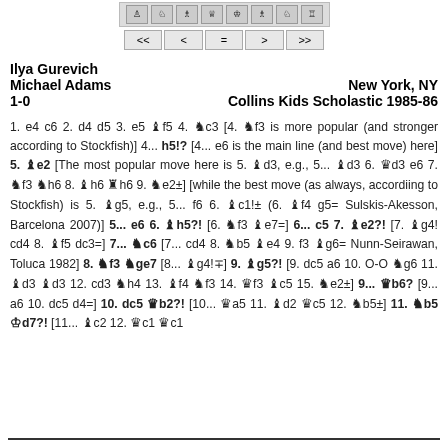[Figure (screenshot): Toolbar with chess piece icons and navigation buttons (<<, <, =, >, >>)]
Ilya Gurevich
Michael Adams    New York, NY
1-0    Collins Kids Scholastic 1985-86
1. e4 c6 2. d4 d5 3. e5 Bf5 4. Nc3 [4. Nf3 is more popular (and stronger according to Stockfish)] 4... h5!? [4... e6 is the main line (and best move) here] 5. Be2 [The most popular move here is 5. Bd3, e.g., 5... Bd3 6. Qd3 e6 7. Nf3 Nh6 8. Bh6 Rh6 9. Ne2±] [while the best move (as always, accordiing to Stockfish) is 5. Bg5, e.g., 5... f6 6. Bc1!± (6. Bf4 g5= Sulskis-Akesson, Barcelona 2007)] 5... e6 6. Bh5?! [6. Nf3 Be7=] 6... c5 7. Be2?! [7. Bg4! cd4 8. Bf5 dc3=] 7... Nc6 [7... cd4 8. Nb5 Be4 9. f3 Bg6= Nunn-Seirawan, Toluca 1982] 8. Nf3 Nge7 [8... Bg4!∓] 9. Bg5?! [9. dc5 a6 10. O-O Ng6 11. Bd3 Bd3 12. cd3 Nh4 13. Bf4 Nf3 14. Qf3 Bc5 15. Ne2±] 9... Qb6? [9... a6 10. dc5 d4=] 10. dc5 Qb2?! [10... Qa5 11. Bd2 Qc5 12. Nb5±] 11. Nb5 Kd7?! [11... Bc2 12. Qc1 Qc1